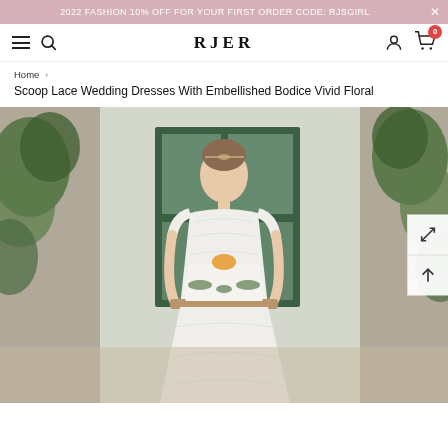2022 FASHION 10% OFF FOR YOUR FIRST ORDER CODE: RJSGIRL
RJER — navigation bar with hamburger, search, account, and cart icons
Home > Scoop Lace Wedding Dresses With Embellished Bodice Vivid Floral
Scoop Lace Wedding Dresses With Embellished Bodice Vivid Floral
[Figure (photo): A woman in a white lace wedding dress holding a wedding cake with floral decorations, standing in front of a green-framed window with ivy-covered stone walls]